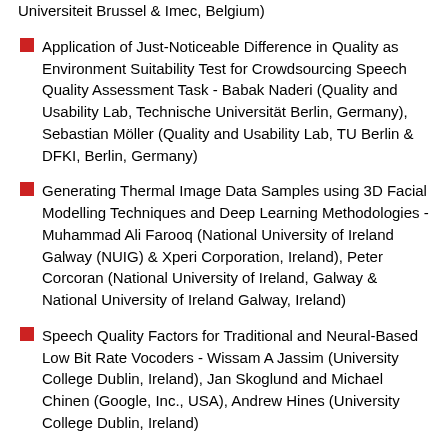Universiteit Brussel & Imec, Belgium)
Application of Just-Noticeable Difference in Quality as Environment Suitability Test for Crowdsourcing Speech Quality Assessment Task - Babak Naderi (Quality and Usability Lab, Technische Universität Berlin, Germany), Sebastian Möller (Quality and Usability Lab, TU Berlin & DFKI, Berlin, Germany)
Generating Thermal Image Data Samples using 3D Facial Modelling Techniques and Deep Learning Methodologies - Muhammad Ali Farooq (National University of Ireland Galway (NUIG) & Xperi Corporation, Ireland), Peter Corcoran (National University of Ireland, Galway & National University of Ireland Galway, Ireland)
Speech Quality Factors for Traditional and Neural-Based Low Bit Rate Vocoders - Wissam A Jassim (University College Dublin, Ireland), Jan Skoglund and Michael Chinen (Google, Inc., USA), Andrew Hines (University College Dublin, Ireland)
PCQM: A full-reference quality metric for colored 3D point clouds - Gabriel Meynet (LIRIS, CNRS, Univ\. Lyon, France), Yana Nehmé (INSA Lyon, CNRS LIRIS, France), Julie Digne (LIRIS, CNRS, France),